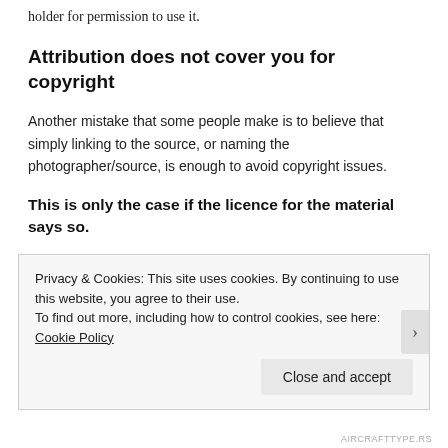holder for permission to use it.
Attribution does not cover you for copyright
Another mistake that some people make is to believe that simply linking to the source, or naming the photographer/source, is enough to avoid copyright issues.
This is only the case if the licence for the material says so.
Privacy & Cookies: This site uses cookies. By continuing to use this website, you agree to their use.
To find out more, including how to control cookies, see here: Cookie Policy
AIRCRAFTTYPE.RS